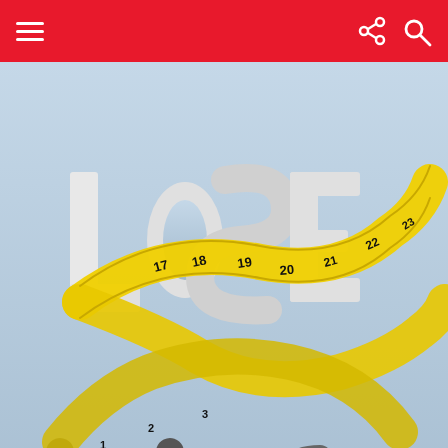Menu | Share | Search
[Figure (illustration): Illustrated image showing the text 'LOSE WEIGHT' with a yellow measuring tape wrapped around the letters, and various fruits (red apples, green pear) arranged at the bottom on a light blue-grey gradient background.]
News
Politics
Uncategorized
We use cookies to ensure that we give you the best experience on our website. If you continue to use this site we will assume that you are happy with it.
Ok
Privacy policy